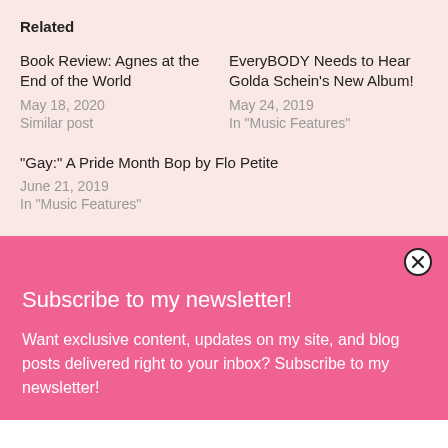Related
Book Review: Agnes at the End of the World
May 18, 2020
Similar post
EveryBODY Needs to Hear Golda Schein's New Album!
May 24, 2019
In "Music Features"
“Gay:” A Pride Month Bop by Flo Petite
June 21, 2019
In "Music Features"
Subscribe to my newsletter!
Want exclusive content, updates on my site, and blog posts delivered right to your inbox? Subscribe to my newsletter!